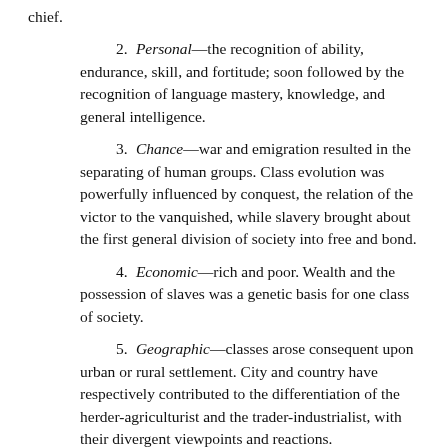chief.
2. Personal—the recognition of ability, endurance, skill, and fortitude; soon followed by the recognition of language mastery, knowledge, and general intelligence.
3. Chance—war and emigration resulted in the separating of human groups. Class evolution was powerfully influenced by conquest, the relation of the victor to the vanquished, while slavery brought about the first general division of society into free and bond.
4. Economic—rich and poor. Wealth and the possession of slaves was a genetic basis for one class of society.
5. Geographic—classes arose consequent upon urban or rural settlement. City and country have respectively contributed to the differentiation of the herder-agriculturist and the trader-industrialist, with their divergent viewpoints and reactions.
6. Social—classes have gradually formed according to popular estimate of the social worth of different groups. Among the earliest divisions of this sort were the demarcations between priest-teachers, ruler-warriors, capitalist-traders, common laborers,